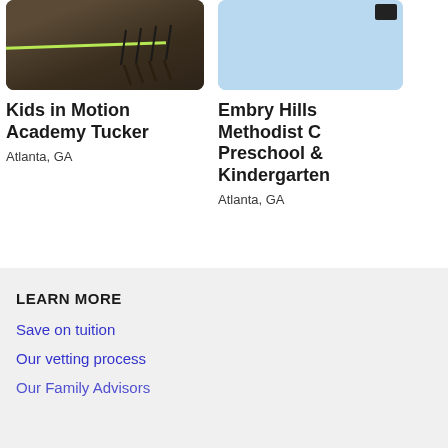[Figure (photo): Classroom interior with dark carpet floor, chairs/desks in background, and a green diagonal line on the floor]
Kids in Motion Academy Tucker
Atlanta, GA
[Figure (photo): Light blue placeholder image with a small dark icon in the top right corner]
Embry Hills Methodist C Preschool & Kindergarten
Atlanta, GA
LEARN MORE
Save on tuition
Our vetting process
Our Family Advisors